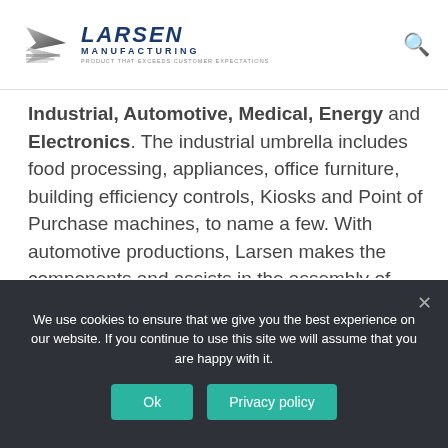LARSEN MANUFACTURING - PRODUCTS THAT EXCEED CUSTOMER EXPECTATIONS
Industrial, Automotive, Medical, Energy and Electronics. The industrial umbrella includes food processing, appliances, office furniture, building efficiency controls, Kiosks and Point of Purchase machines, to name a few. With automotive productions, Larsen makes the components and assists in the assembly of Infotainment units, fuel pump modules, brake and filtration systems, seating systems and drive trains.
We use cookies to ensure that we give you the best experience on our website. If you continue to use this site we will assume that you are happy with it.